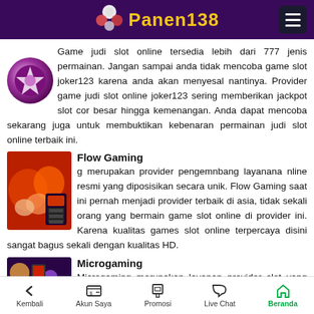Panen138
Game judi slot online tersedia lebih dari 777 jenis permainan. Jangan sampai anda tidak mencoba game slot joker123 karena anda akan menyesal nantinya. Provider game judi slot online joker123 sering memberikan jackpot slot cor besar hingga kemenangan. Anda dapat mencoba sekarang juga untuk membuktikan kebenaran permainan judi slot online terbaik ini.
Flow Gaming
Flow Gaming merupakan provider pengemnbang layanana online resmi yang diposisikan secara unik. Flow Gaming saat ini pernah menjadi provider terbaik di asia, tidak sekali orang yang bermain game slot online di provider ini. Karena kualitas games slot online terpercaya disini sangat bagus sekali dengan kualitas HD.
Microgaming
Microgaming merupakan layanan provider slot yang sangat disukai berbagai kalangan masyarakat, game slot online sangat mudah di mainkan sering
Kembali  Akun Saya  Promosi  Live Chat  Beranda